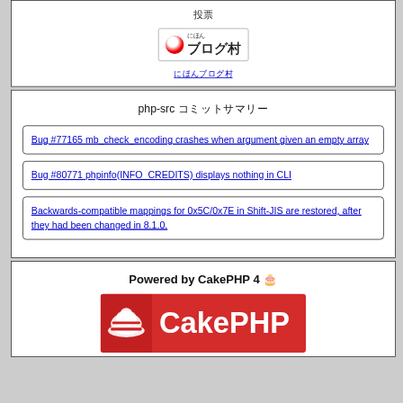投票
[Figure (logo): にほんブログ村 badge logo with Japanese text and red circle]
にほんブログ村
php-src コミットサマリー
Bug #77165 mb_check_encoding crashes when argument given an empty array
Bug #80771 phpinfo(INFO_CREDITS) displays nothing in CLI
Backwards-compatible mappings for 0x5C/0x7E in Shift-JIS are restored, after they had been changed in 8.1.0.
Powered by CakePHP 4 🎂
[Figure (logo): CakePHP logo — white chef hat icon on red background with CakePHP text in white]